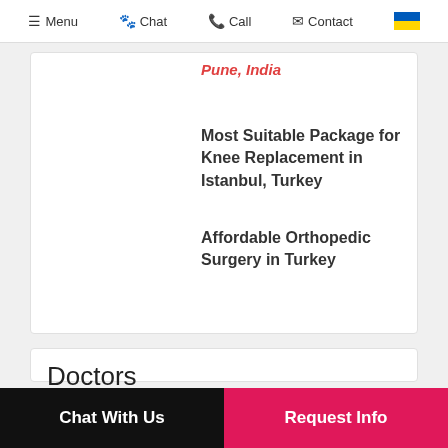Menu  Chat  Call  Contact
Pune, India
Most Suitable Package for Knee Replacement in Istanbul, Turkey
Affordable Orthopedic Surgery in Turkey
Doctors
Dr. KAYHAN TURAN
Stem Cell Therapy,
Chat With Us   Request Info